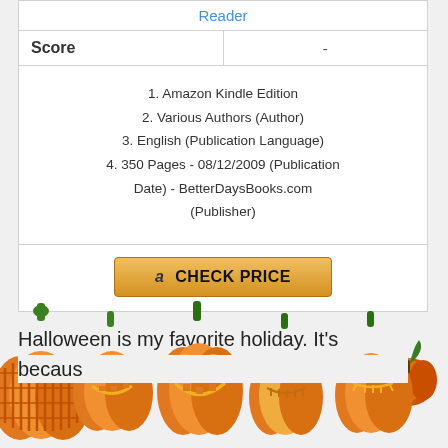|  | Reader |
| --- | --- |
| Score | - |
|  | 1. Amazon Kindle Edition
2. Various Authors (Author)
3. English (Publication Language)
4. 350 Pages - 08/12/2009 (Publication Date) - BetterDaysBooks.com (Publisher) |
[Figure (illustration): Halloween pumpkin character sitting on the right side of the page]
Halloween is my favorite holiday. It's
[Figure (illustration): Row of carved jack-o-lantern pumpkins at the bottom of the page]